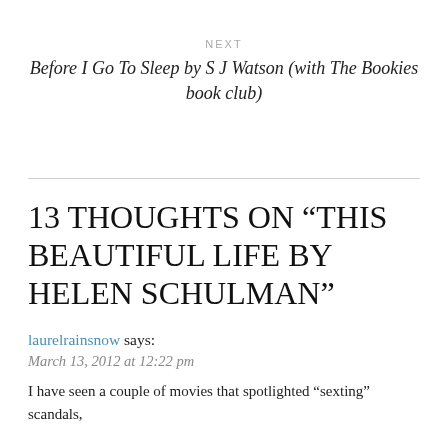NEXT
Before I Go To Sleep by S J Watson (with The Bookies book club)
13 THOUGHTS ON “THIS BEAUTIFUL LIFE BY Helen Schulman”
laurelrainsnow says:
March 13, 2012 at 12:22 pm
I have seen a couple of movies that spotlighted “sexting” scandals,